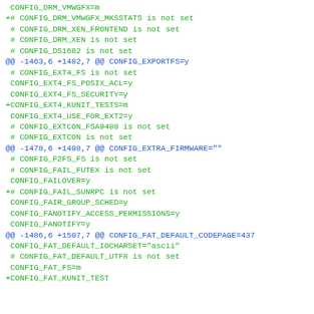CONFIG_DRM_VMWGFX=m
+# CONFIG_DRM_VMWGFX_MKSSTATS is not set
 # CONFIG_DRM_XEN_FRONTEND is not set
 # CONFIG_DRM_XEN is not set
 # CONFIG_DS1682 is not set
@@ -1463,6 +1482,7 @@ CONFIG_EXPORTFS=y
 # CONFIG_EXT4_FS is not set
 CONFIG_EXT4_FS_POSIX_ACL=y
 CONFIG_EXT4_FS_SECURITY=y
+CONFIG_EXT4_KUNIT_TESTS=m
 CONFIG_EXT4_USE_FOR_EXT2=y
 # CONFIG_EXTCON_FSA9480 is not set
 # CONFIG_EXTCON is not set
@@ -1478,6 +1498,7 @@ CONFIG_EXTRA_FIRMWARE=""
 # CONFIG_F2FS_FS is not set
 # CONFIG_FAIL_FUTEX is not set
 CONFIG_FAILOVER=y
+# CONFIG_FAIL_SUNRPC is not set
 CONFIG_FAIR_GROUP_SCHED=y
 CONFIG_FANOTIFY_ACCESS_PERMISSIONS=y
 CONFIG_FANOTIFY=y
@@ -1486,6 +1507,7 @@ CONFIG_FAT_DEFAULT_CODEPAGE=437
 CONFIG_FAT_DEFAULT_IOCHARSET="ascii"
 # CONFIG_FAT_DEFAULT_UTF8 is not set
 CONFIG_FAT_FS=m
+CONFIG_FAT_KUNIT_TEST